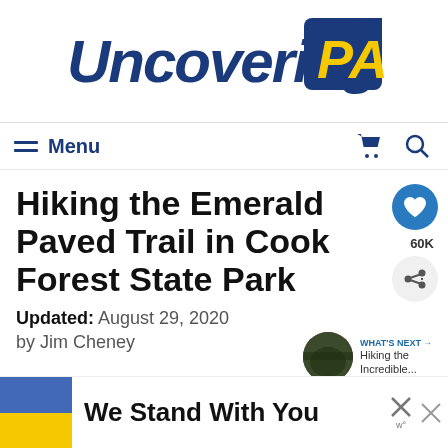[Figure (logo): Uncovering PA logo with blue text and yellow 'PA' on blue badge background]
≡ Menu
Hiking the Emerald Paved Trail in Cook Forest State Park
Updated: August 29, 2020
by Jim Cheney
WHAT'S NEXT → Hiking the Incredible...
[Figure (infographic): We Stand With You banner with Ukrainian flag colors (blue and yellow)]